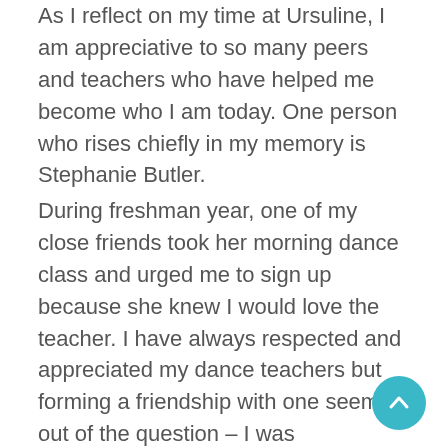As I reflect on my time at Ursuline, I am appreciative to so many peers and teachers who have helped me become who I am today. One person who rises chiefly in my memory is Stephanie Butler.
During freshman year, one of my close friends took her morning dance class and urged me to sign up because she knew I would love the teacher. I have always respected and appreciated my dance teachers but forming a friendship with one seemed out of the question – I was accustomed to fearing my dance teachers. But when I joined the Performing Arts department the spring of my sophomore year, Ms. Butler welcomed me with open